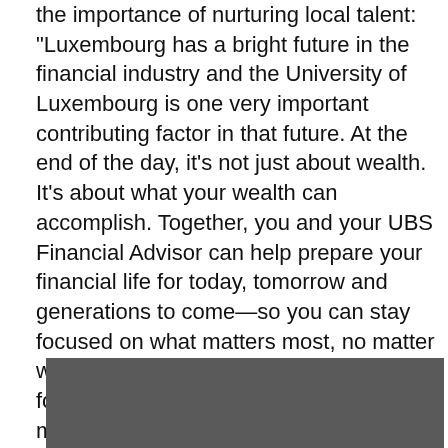the importance of nurturing local talent: "Luxembourg has a bright future in the financial industry and the University of Luxembourg is one very important contributing factor in that future. At the end of the day, it's not just about wealth. It's about what your wealth can accomplish. Together, you and your UBS Financial Advisor can help prepare your financial life for today, tomorrow and generations to come—so you can stay focused on what matters most, no matter what the markets are doing. That's our focus as the world's largest wealth management firm.* UBS, .NET Developer: currently 6 jobs.The latest job was posted on 17 Mar 21. Områdesbehörighet förskollärare
[Figure (photo): Dark grey/charcoal colored image block at the bottom of the page, partially visible.]